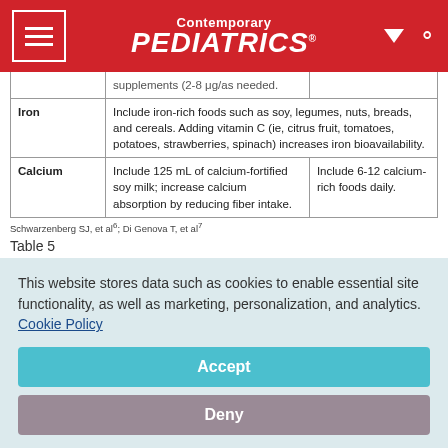Contemporary PEDIATRICS
|  |  |  |
| --- | --- | --- |
|  | supplements (2-8 μg/as needed. |  |
| Iron | Include iron-rich foods such as soy, legumes, nuts, breads, and cereals. Adding vitamin C (ie, citrus fruit, tomatoes, potatoes, strawberries, spinach) increases iron bioavailability. |  |
| Calcium | Include 125 mL of calcium-fortified soy milk; increase calcium absorption by reducing fiber intake. | Include 6-12 calcium-rich foods daily. |
Schwarzenberg SJ, et al⁶; Di Genova T, et al⁷
Table 5
TABLE 6
This website stores data such as cookies to enable essential site functionality, as well as marketing, personalization, and analytics. Cookie Policy
Accept
Deny